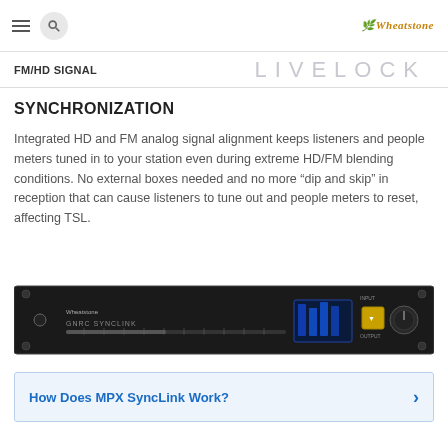FM/HD SIGNAL  LIVELOCK
SYNCHRONIZATION
Integrated HD and FM analog signal alignment keeps listeners and people meters tuned in to your station even during extreme HD/FM blending conditions. No external boxes needed and no more “dip and skip” in reception that can cause listeners to tune out and people meters to reset, affecting TSL.
[Figure (photo): Photo of Wheatstone GNRC SYNCLINK rack-mounted hardware unit, a black 1U device with display panel and controls on the front face.]
How Does MPX SyncLink Work?